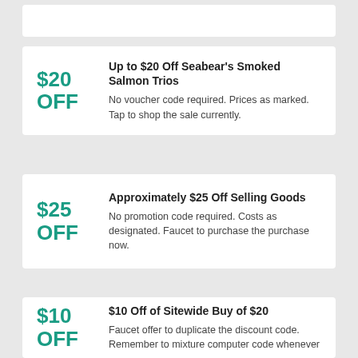$20 OFF — Up to $20 Off Seabear's Smoked Salmon Trios. No voucher code required. Prices as marked. Tap to shop the sale currently.
$25 OFF — Approximately $25 Off Selling Goods. No promotion code required. Costs as designated. Faucet to purchase the purchase now.
$10 OFF — $10 Off of Sitewide Buy of $20. Faucet offer to duplicate the discount code. Remember to mixture computer code whenever...